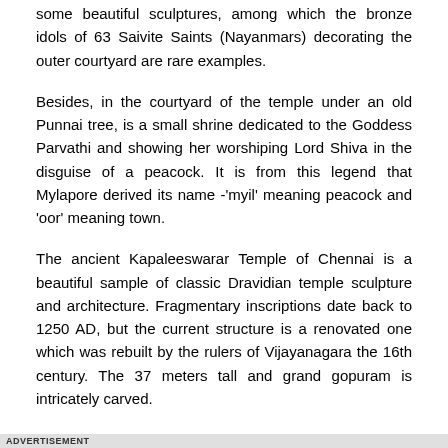some beautiful sculptures, among which the bronze idols of 63 Saivite Saints (Nayanmars) decorating the outer courtyard are rare examples.
Besides, in the courtyard of the temple under an old Punnai tree, is a small shrine dedicated to the Goddess Parvathi and showing her worshiping Lord Shiva in the disguise of a peacock. It is from this legend that Mylapore derived its name -'myil' meaning peacock and 'oor' meaning town.
The ancient Kapaleeswarar Temple of Chennai is a beautiful sample of classic Dravidian temple sculpture and architecture. Fragmentary inscriptions date back to 1250 AD, but the current structure is a renovated one which was rebuilt by the rulers of Vijayanagara the 16th century. The 37 meters tall and grand gopuram is intricately carved.
The Kapaleeswarar Temple of Chennai is reputed to be the site of a miracle, depicted through the medium of sculpture in the shrine of the saint before the temple flagmast. Among other unique features are the bronze statues of 63 Saivite saints, canonized for spending their lives amidst prayers and penance. These 63 Nayanmars (saints) are carried by devotees in a colorful
ADVERTISEMENT